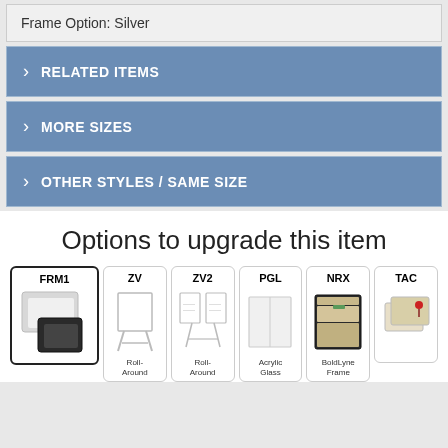Frame Option: Silver
RELATED ITEMS
MORE SIZES
OTHER STYLES / SAME SIZE
Options to upgrade this item
| FRM1 | ZV | ZV2 | PGL | NRX | TAC |
| --- | --- | --- | --- | --- | --- |
| Roll-Around | Roll-Around | Acrylic Glass | BoldLyne Frame |  |